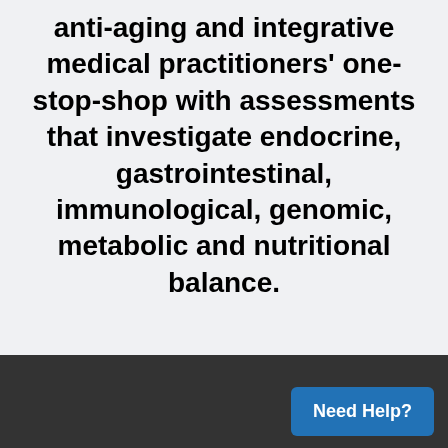anti-aging and integrative medical practitioners' one-stop-shop with assessments that investigate endocrine, gastrointestinal, immunological, genomic, metabolic and nutritional balance.
Need Help?